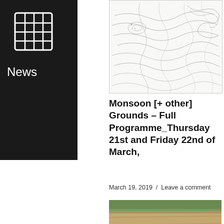[Figure (map): Topographic or geological line-drawing map with contour lines and terrain features]
Monsoon [+ other] Grounds – Full Programme_Thursday 21st and Friday 22nd of March,
March 19, 2019 / Leave a comment
[Figure (photo): Photo of a rocky/sandy cliff face with text overlay reading MONSOON [+OTHER] GROUNDS, and an Accessibility Statement banner at the bottom]